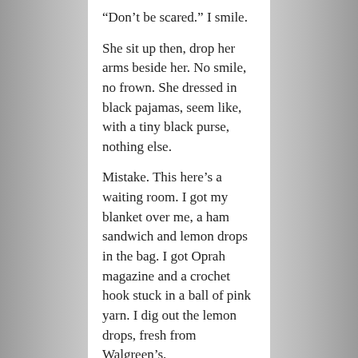“Don’t be scared.” I smile.
She sit up then, drop her arms beside her. No smile, no frown. She dressed in black pajamas, seem like, with a tiny black purse, nothing else.
Mistake. This here’s a waiting room. I got my blanket over me, a ham sandwich and lemon drops in the bag. I got Oprah magazine and a crochet hook stuck in a ball of pink yarn. I dig out the lemon drops, fresh from Walgreen’s.
“You want one?” I reach out and lean over. Knees too bad to be jumping up.